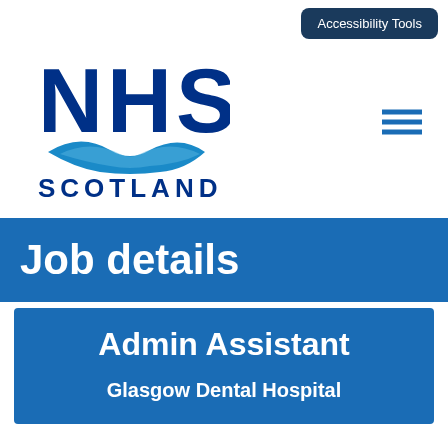Accessibility Tools
[Figure (logo): NHS Scotland logo with blue NHS text, light blue swoosh/wave graphic, and dark blue SCOTLAND text]
Job details
Admin Assistant
Glasgow Dental Hospital